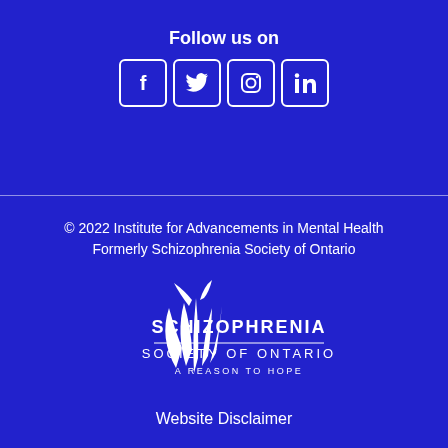Follow us on
[Figure (illustration): Social media icons: Facebook, Twitter, Instagram, LinkedIn — white icons with rounded square borders on blue background]
© 2022 Institute for Advancements in Mental Health
Formerly Schizophrenia Society of Ontario
[Figure (logo): Schizophrenia Society of Ontario logo — white stylized plant/flower graphic with text SCHIZOPHRENIA SOCIETY OF ONTARIO and A REASON TO HOPE]
Website Disclaimer
Website Design by Inorbital
Charitable Registration #10686 1455 RR0001